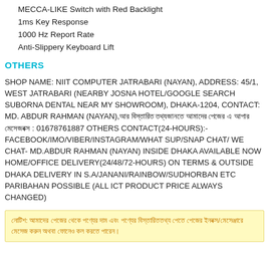MECCA-LIKE Switch with Red Backlight
1ms Key Response
1000 Hz Report Rate
Anti-Slippery Keyboard Lift
OTHERS
SHOP NAME: NIIT COMPUTER JATRABARI (NAYAN), ADDRESS: 45/1, WEST JATRABARI (NEARBY JOSNA HOTEL/GOOGLE SEARCH SUBORNA DENTAL NEAR MY SHOWROOM), DHAKA-1204, CONTACT: MD. ABDUR RAHMAN (NAYAN),আর বিস্তারিত তথ্যজানতে আমাদের পেজের এ আপার মেসেজবক্স : 01678761887 OTHERS CONTACT(24-HOURS):- FACEBOOK/IMO/VIBER/INSTAGRAM/WHAT SUP/SNAP CHAT/ WE CHAT- MD.ABDUR RAHMAN (NAYAN) INSIDE DHAKA AVAILABLE NOW HOME/OFFICE DELIVERY(24/48/72-HOURS) ON TERMS & OUTSIDE DHAKA DELIVERY IN S.A/JANANI/RAINBOW/SUDHORBAN ETC PARIBAHAN POSSIBLE (ALL ICT PRODUCT PRICE ALWAYS CHANGED)
নোটিশ: আমাদের পেজের থেকে পণ্যের দাম এবং পণ্যের বিস্তারিততথ্য পেতে পেজের ইনবক্স/মেসেঞ্জারে মেসেজ করুন অথবা ফোনেও কল করতে পারেন।